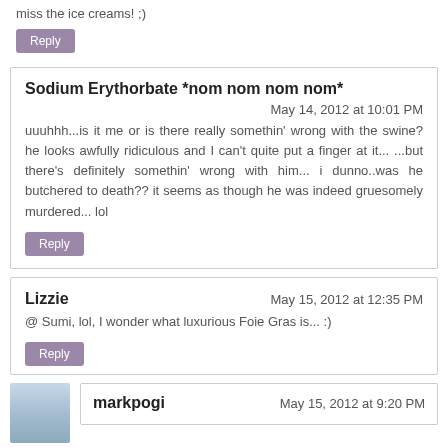miss the ice creams! ;)
Reply
Sodium Erythorbate *nom nom nom nom*
May 14, 2012 at 10:01 PM
uuuhhh...is it me or is there really somethin' wrong with the swine? he looks awfully ridiculous and I can't quite put a finger at it... ...but there's definitely somethin' wrong with him... i dunno..was he butchered to death?? it seems as though he was indeed gruesomely murdered... lol
Reply
Lizzie
May 15, 2012 at 12:35 PM
@ Sumi, lol, I wonder what luxurious Foie Gras is... :)
Reply
markpogi
May 15, 2012 at 9:20 PM